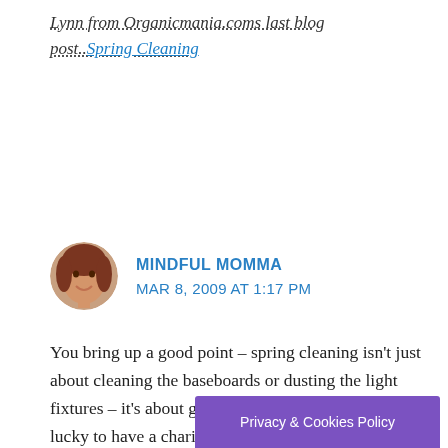Lynn from Organicmania.coms last blog post.. Spring Cleaning
[Figure (photo): Circular avatar photo of a woman with reddish-brown hair, smiling]
MINDFUL MOMMA
MAR 8, 2009 AT 1:17 PM
You bring up a good point – spring cleaning isn't just about cleaning the baseboards or dusting the light fixtures – it's about getting rid of the clutter! I am lucky to have a charity organizat... t my h...
Privacy & Cookies Policy